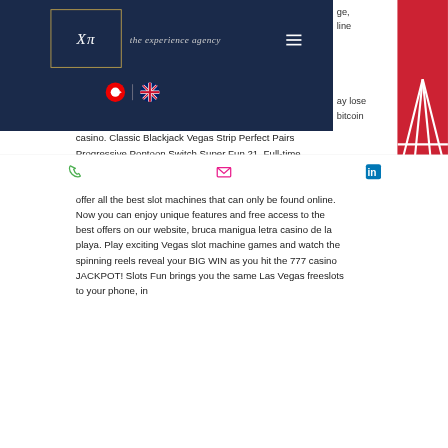[Figure (logo): XPi the experience agency logo in navy header with gold border box]
ge, line
ay lose bitcoin
casino. Classic Blackjack Vegas Strip Perfect Pairs Progressive Pontoon Switch Super Fun 21. Full-time, temporary, and part-time jobs, how to win at a casino slots. Free, fast and easy way find Casino dealer jobs of 779. We offer all the best slot machines that can only be found online. Now you can enjoy unique features and free access to the best offers on our website, bruca manigua letra casino de la playa. Play exciting Vegas slot machine games and watch the spinning reels reveal your BIG WIN as you hit the 777 casino JACKPOT! Slots Fun brings you the same Las Vegas freeslots to your phone, in
[Figure (photo): Red panel on right side with white diagonal structure lines]
Phone icon | Email icon | LinkedIn icon